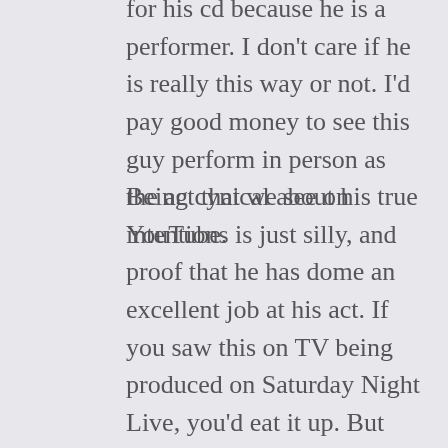for his cd because he is a performer. I don't care if he is really this way or not. I'd pay good money to see this guy perform in person as the act that we see on YouTube.
Being cynical about his true intentions is just silly, and proof that he has dome an excellent job at his act. If you saw this on TV being produced on Saturday Night Live, you'd eat it up. But him performing on Youtube as a new medium doesn't mean that he's a sham or using our sympathies to unfairly take our money. It just means that